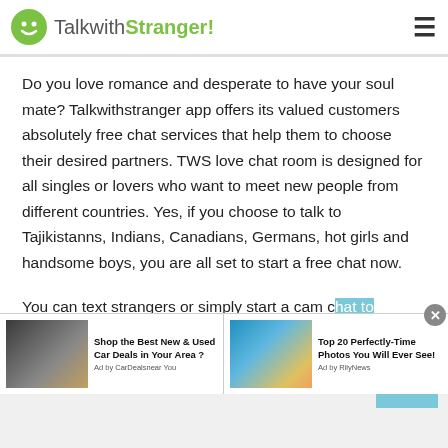TalkwithStranger!
Do you love romance and desperate to have your soul mate? Talkwithstranger app offers its valued customers absolutely free chat services that help them to choose their desired partners. TWS love chat room is designed for all singles or lovers who want to meet new people from different countries. Yes, if you choose to talk to Tajikistanns, Indians, Canadians, Germans, hot girls and handsome boys, you are all set to start a free chat now.

You can text strangers or simply start a cam chat to
[Figure (screenshot): Advertisement banner: car deals ad and top 20 photos ad]